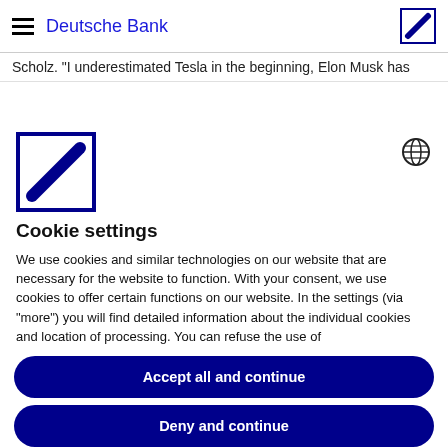Deutsche Bank
Scholz. “I underestimated Tesla in the beginning, Elon Musk has
[Figure (logo): Deutsche Bank logo (blue square with white diagonal slash) and globe/language icon]
Cookie settings
We use cookies and similar technologies on our website that are necessary for the website to function. With your consent, we use cookies to offer certain functions on our website. In the settings (via “more”) you will find detailed information about the individual cookies and location of processing. You can refuse the use of
Accept all and continue
Deny and continue
Save settings